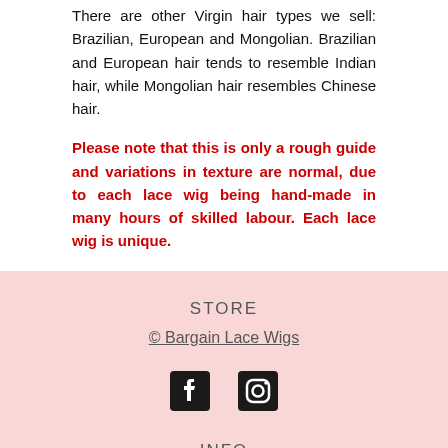There are other Virgin hair types we sell: Brazilian, European and Mongolian. Brazilian and European hair tends to resemble Indian hair, while Mongolian hair resembles Chinese hair.
Please note that this is only a rough guide and variations in texture are normal, due to each lace wig being hand-made in many hours of skilled labour. Each lace wig is unique.
STORE
© Bargain Lace Wigs
[Figure (infographic): Facebook and Instagram social media icons displayed side by side]
INFO
Search